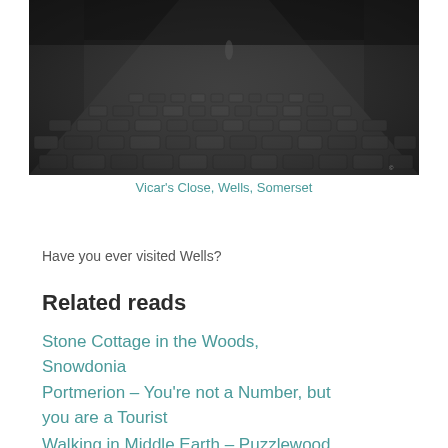[Figure (photo): Dark cobblestone medieval street/lane (Vicar's Close, Wells, Somerset) viewed from street level, with stone walls on the sides and a person visible in the distance. Dark, moody atmosphere.]
Vicar's Close, Wells, Somerset
Have you ever visited Wells?
Related reads
Stone Cottage in the Woods, Snowdonia
Portmerion – You're not a Number, but you are a Tourist
Walking in Middle Earth – Puzzlewood